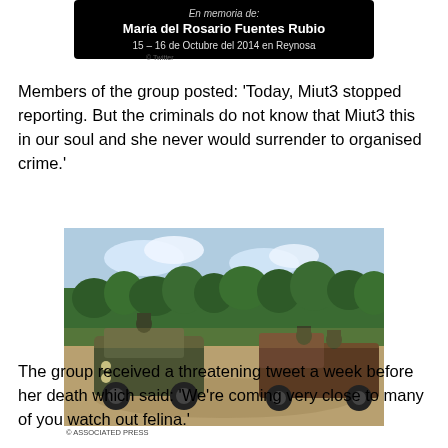[Figure (screenshot): Black Twitter banner reading 'En memoria de: María del Rosario Fuentes Rubio 15 – 16 de Octubre del 2014 en Reynosa']
Members of the group posted: 'Today, Miut3 stopped reporting. But the criminals do not know that Miut3 this in our soul and she never would surrender to organised crime.'
[Figure (photo): Military vehicles including a Humvee and a pickup truck with armed soldiers on a dirt road surrounded by trees. © ASSOCIATED PRESS]
The group received a threatening tweet a week before her death which said: 'We're coming very close to many of you watch out felina.'